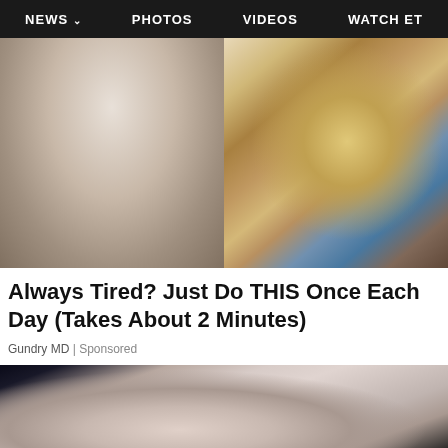NEWS  PHOTOS  VIDEOS  WATCH ET
[Figure (photo): A man in a suit pointing at a dental/medical cross-section model showing layers of tooth and gum tissue]
Always Tired? Just Do THIS Once Each Day (Takes About 2 Minutes)
Gundry MD | Sponsored
[Figure (photo): Close-up of a person's ear with a cotton swab or similar instrument inserted]